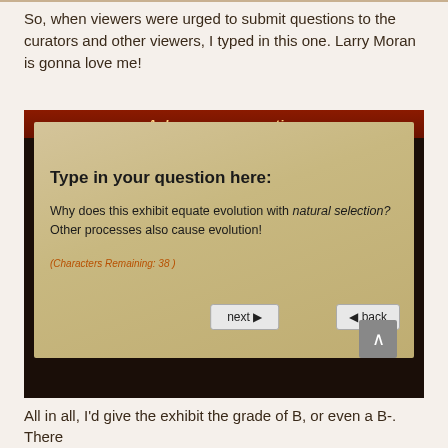So, when viewers were urged to submit questions to the curators and other viewers, I typed in this one. Larry Moran is gonna love me!
[Figure (screenshot): A photo of a museum exhibit touchscreen showing 'Ask your own question' interface. The screen prompts 'Type in your question here:' and contains the typed text: 'Why does this exhibit equate evolution with natural selection? Other processes also cause evolution!' with '(Characters Remaining: 38)' shown below. Navigation buttons 'next ▶' and '◀ back' are visible at the bottom.]
All in all, I'd give the exhibit the grade of B, or even a B-. There